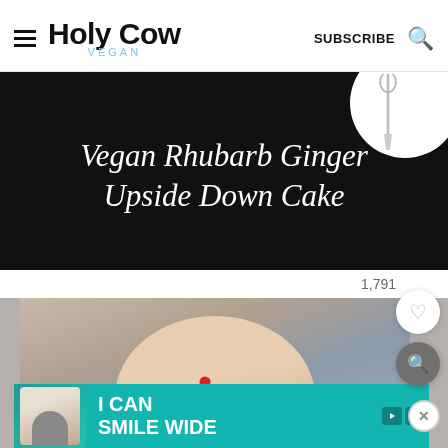Holy Cow Vegan — SUBSCRIBE
[Figure (photo): Dark/black background with white serif italic text: 'Vegan Rhubarb Ginger Upside Down Cake' and a partial white circle at top right with a spoon/utensil graphic]
1,791
[Figure (photo): Photo of a person's ankle/foot with a small red dot on the ankle, on a gray background. Partially visible advertisement banner at bottom: 'I CAN SMILE WIDE' with a person smiling on the left, teal/green background.]